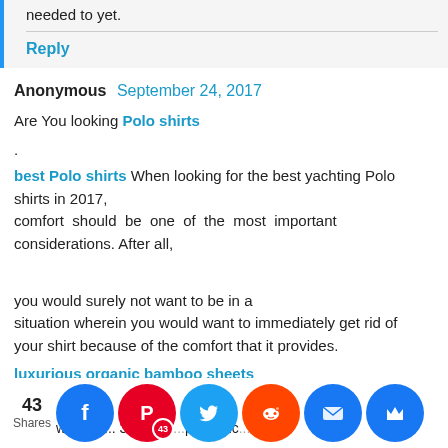needed to yet.
Reply
Anonymous  September 24, 2017
Are You looking Polo shirts
.
best Polo shirts When looking for the best yachting Polo shirts in 2017,
comfort should be one of the most important considerations. After all,

you would surely not want to be in a situation wherein you would want to immediately get rid of your shirt because of the comfort that it provides.
luxurious organic bamboo sheets
luxurious bamboo sheets
100% bamboo bed sheets
si...mb...ets
w...ep P... 30... ad c... per ... inc...
43 Shares